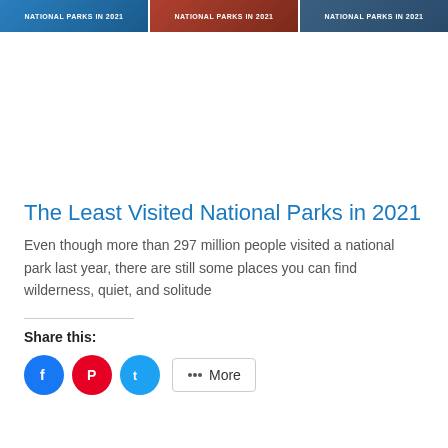[Figure (photo): Three banner images side by side showing national park scenes with text 'NATIONAL PARKS IN 2021']
The Least Visited National Parks in 2021
Even though more than 297 million people visited a national park last year, there are still some places you can find wilderness, quiet, and solitude
Share this: